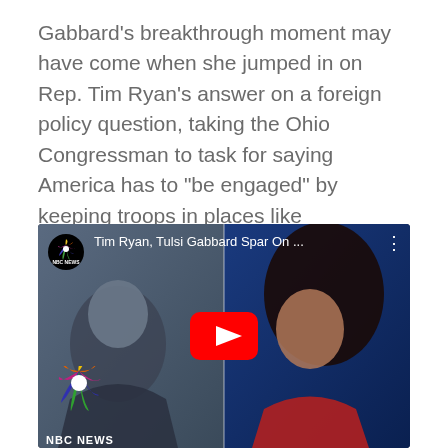Gabbard's breakthrough moment may have come when she jumped in on Rep. Tim Ryan's answer on a foreign policy question, taking the Ohio Congressman to task for saying America has to "be engaged" by keeping troops in places like Afghanistan. Gabbard responded:
[Figure (screenshot): YouTube video thumbnail showing NBC News video titled 'Tim Ryan, Tulsi Gabbard Spar On ...' with a split screen of Tim Ryan on the left and Tulsi Gabbard on the right, with a red YouTube play button in the center, NBC News logo in top-left and bottom-left corners.]